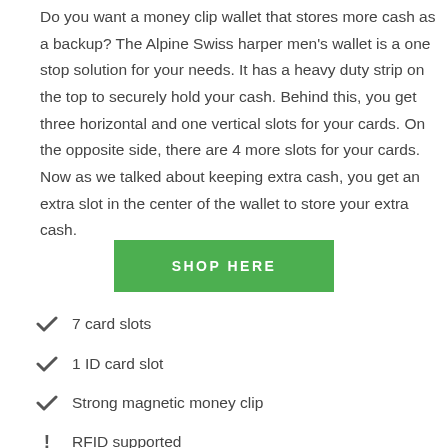Do you want a money clip wallet that stores more cash as a backup? The Alpine Swiss harper men's wallet is a one stop solution for your needs. It has a heavy duty strip on the top to securely hold your cash. Behind this, you get three horizontal and one vertical slots for your cards. On the opposite side, there are 4 more slots for your cards. Now as we talked about keeping extra cash, you get an extra slot in the center of the wallet to store your extra cash.
[Figure (other): Green button with white uppercase text reading SHOP HERE]
7 card slots
1 ID card slot
Strong magnetic money clip
RFID supported